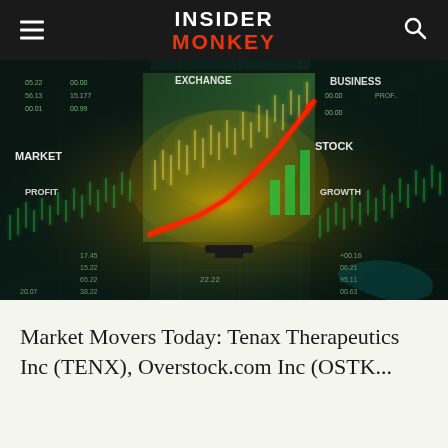Insider Monkey
[Figure (photo): Financial market data visualization with candlestick charts, stock graphs, glowing screens showing market data with text labels MARKET, PROFIT, EXCHANGE, STOCK, BUSINESS, GROWTH, and a red upward trending arrow chart in the center]
Market Movers Today: Tenax Therapeutics Inc (TENX), Overstock.com Inc (OSTK...